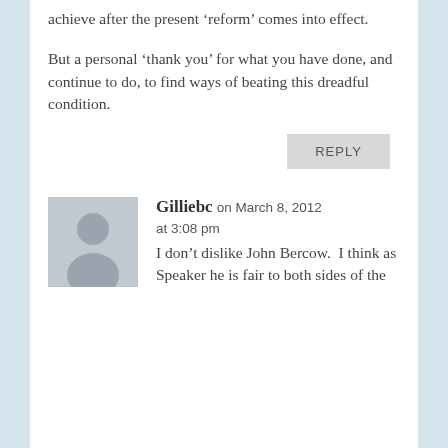achieve after the present ‘reform’ comes into effect.
But a personal ‘thank you’ for what you have done, and continue to do, to find ways of beating this dreadful condition.
REPLY
Gilliebc on March 8, 2012 at 3:08 pm
I don’t dislike John Bercow.  I think as Speaker he is fair to both sides of the